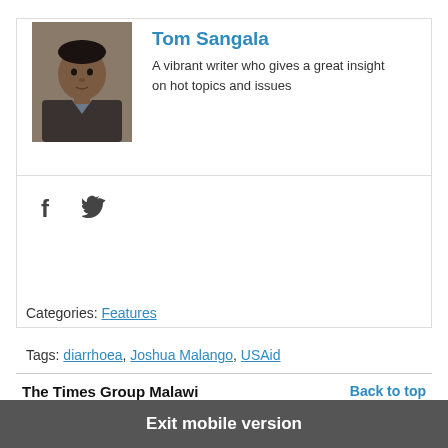[Figure (photo): Headshot photo of Tom Sangala, a man with short hair wearing a dark jacket]
Tom Sangala
A vibrant writer who gives a great insight on hot topics and issues
[Figure (infographic): Facebook and Twitter social media icons]
Categories: Features
Tags: diarrhoea, Joshua Malango, USAid
The Times Group Malawi
Back to top
Exit mobile version